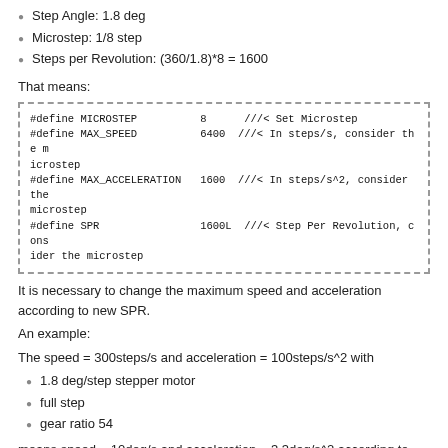Step Angle: 1.8 deg
Microstep: 1/8 step
Steps per Revolution: (360/1.8)*8 = 1600
That means:
[Figure (screenshot): Code block with #define macros for MICROSTEP 8, MAX_SPEED 6400, MAX_ACCELERATION 1600, SPR 1600L with Doxygen comments]
It is necessary to change the maximum speed and acceleration according to new SPR.
An example:
The speed = 300steps/s and acceleration = 100steps/s^2 with
1.8 deg/step stepper motor
full step
gear ratio 54
means speed = 10deg/s and acceleration = 3.3deg/s^2 according to this function (https://gitlab.com/librespacefoundation/satnogs/sat